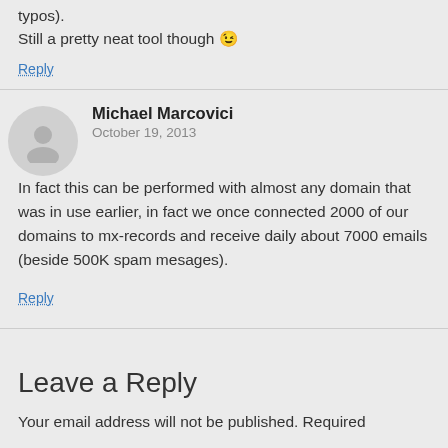typos).
Still a pretty neat tool though 😉
Reply
Michael Marcovici
October 19, 2013
In fact this can be performed with almost any domain that was in use earlier, in fact we once connected 2000 of our domains to mx-records and receive daily about 7000 emails (beside 500K spam mesages).
Reply
Leave a Reply
Your email address will not be published. Required